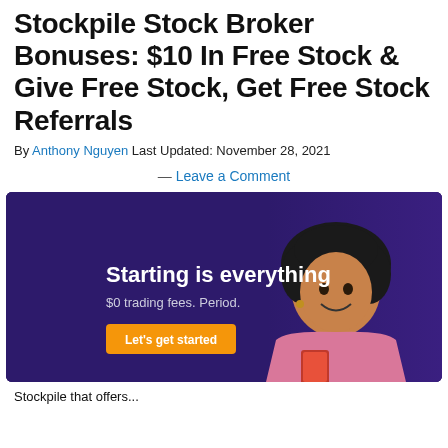Stockpile Stock Broker Bonuses: $10 In Free Stock & Give Free Stock, Get Free Stock Referrals
By Anthony Nguyen Last Updated: November 28, 2021
— Leave a Comment
[Figure (photo): Stockpile promotional banner with dark purple background showing a smiling woman holding a smartphone. Text reads 'Starting is everything', '$0 trading fees. Period.' with an orange 'Let's get started' button.]
Stockpile that offers...